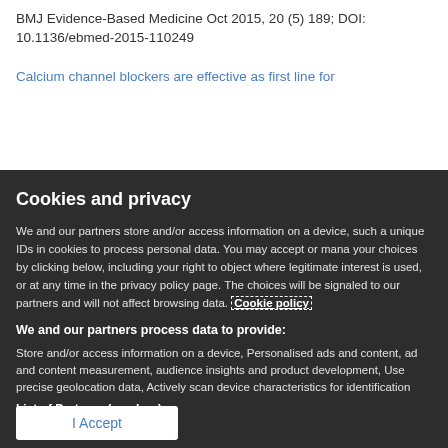BMJ Evidence-Based Medicine Oct 2015, 20 (5) 189; DOI: 10.1136/ebmed-2015-110249
Calcium channel blockers are effective as first line for
Cookies and privacy
We and our partners store and/or access information on a device, such a unique IDs in cookies to process personal data. You may accept or mana your choices by clicking below, including your right to object where legitimate interest is used, or at any time in the privacy policy page. The choices will be signaled to our partners and will not affect browsing data. Cookie policy
We and our partners process data to provide:
Store and/or access information on a device, Personalised ads and content, ad and content measurement, audience insights and product development, Use precise geolocation data, Actively scan device characteristics for identification
List of Partners (vendors)
I Accept